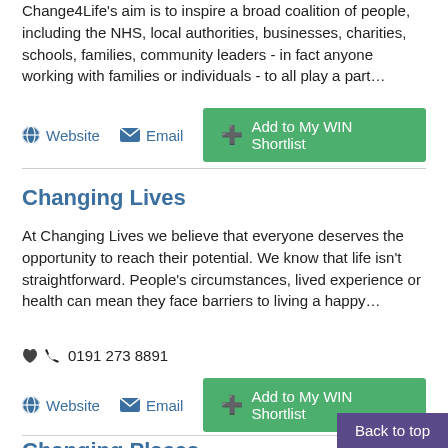Change4Life's aim is to inspire a broad coalition of people, including the NHS, local authorities, businesses, charities, schools, families, community leaders - in fact anyone working with families or individuals - to all play a part…
Website  Email  + Add to My WIN Shortlist
Changing Lives
At Changing Lives we believe that everyone deserves the opportunity to reach their potential. We know that life isn't straightforward. People's circumstances, lived experience or health can mean they face barriers to living a happy…
📞 0191 273 8891
Website  Email  + Add to My WIN Shortlist
Changing Places